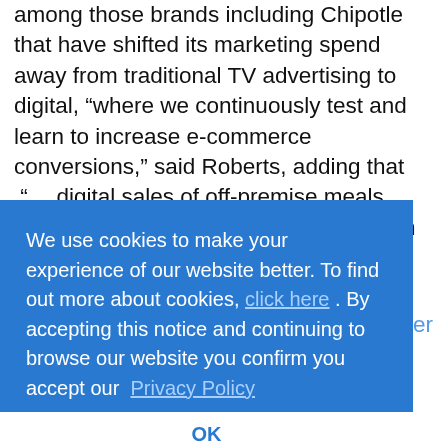among those brands including Chipotle that have shifted its marketing spend away from traditional TV advertising to digital, “where we continuously test and learn to increase e-commerce conversions,” said Roberts, adding that “… digital sales of off-premise meals have grown from low teens to more than 50% in the fourth quarter, with only a slight dip as dining rooms reopen,” said Roberts.
With this pivot to digital marketing, Brinker has driven increased frequency through its takeout and delivery channels at a fraction of the marketing expense.
Just Winging It
With It’s Just Wings up and running, Brinker is leveraging its existing infrastructure and its partnership with DoorDash. “We get to leverage all of the expertise we have in our restaurants, in terms of culinary ability. We
We use cookies to make your experience of our website better. To find out more about cookies, click here. By accepting this notice and continuing to browse our website you confirm you accept our Privacy Policy
OK